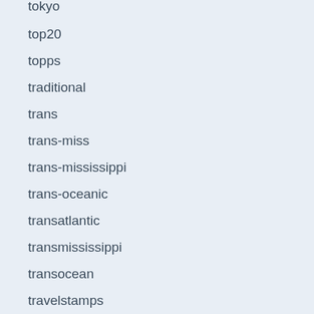tokyo
top20
topps
traditional
trans
trans-miss
trans-mississippi
trans-oceanic
transatlantic
transmississippi
transocean
travelstamps
trey
tropical
trucial
true